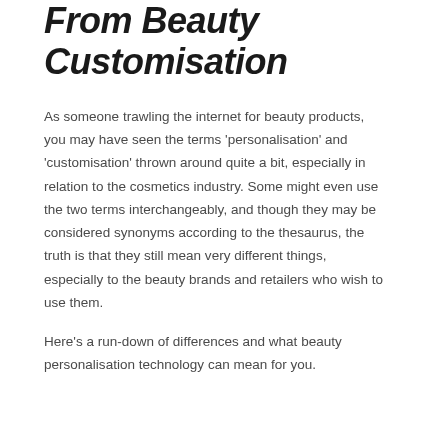From Beauty Customisation
As someone trawling the internet for beauty products, you may have seen the terms 'personalisation' and 'customisation' thrown around quite a bit, especially in relation to the cosmetics industry. Some might even use the two terms interchangeably, and though they may be considered synonyms according to the thesaurus, the truth is that they still mean very different things, especially to the beauty brands and retailers who wish to use them.
Here's a run-down of differences and what beauty personalisation technology can mean for you.